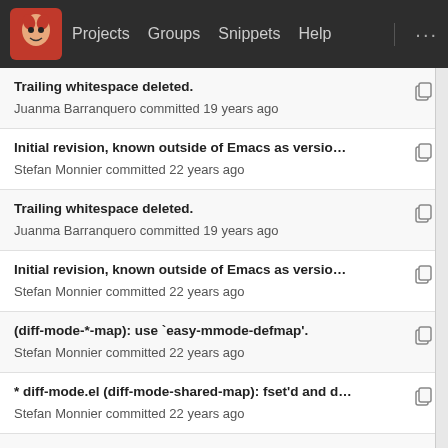Projects  Groups  Snippets  Help  ...
Trailing whitespace deleted.
Juanma Barranquero committed 19 years ago
Initial revision, known outside of Emacs as versio...
Stefan Monnier committed 22 years ago
Trailing whitespace deleted.
Juanma Barranquero committed 19 years ago
Initial revision, known outside of Emacs as versio...
Stefan Monnier committed 22 years ago
(diff-mode-*-map): use `easy-mmode-defmap'.
Stefan Monnier committed 22 years ago
* diff-mode.el (diff-mode-shared-map): fset'd and d...
Stefan Monnier committed 22 years ago
(diff-default-read-only): New var.
Stefan Monnier committed 20 years ago